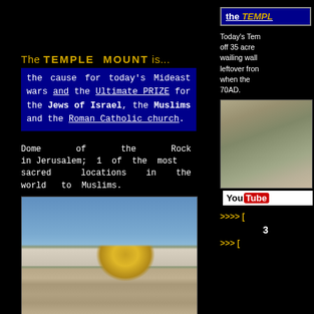the TEMPLE
Today's Temple Mount is walled off 35 acres in Jerusalem. The wailing wall [below] is the leftover from the Temple Walls when the Romans destroyed it in 70AD.
The TEMPLE MOUNT is...
the cause for today's Mideast wars and the Ultimate PRIZE for the Jews of Israel, the Muslims and the Roman Catholic church.
Dome of the Rock in Jerusalem; 1 of the most sacred locations in the world to Muslims.
[Figure (photo): Photo of the Dome of the Rock with golden dome visible above the Wailing Wall stones in Jerusalem]
The "wailing Wall" [foreground] is Israel's most sacred site, & is only yards away from the Dome of the Rock. The WALL was reconstructed with left-over sacred stones from the original 2nd Temple.
[Figure (photo): Aerial photo of Temple Mount area in Jerusalem]
[Figure (logo): YouTube logo]
>>>> [
3
>>> [